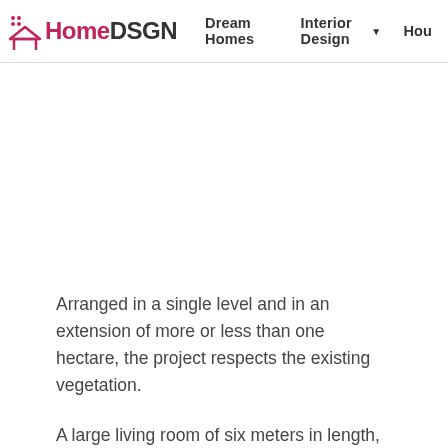HomeDSGN — Dream Homes | Interior Design | Hou…
Arranged in a single level and in an extension of more or less than one hectare, the project respects the existing vegetation.
A large living room of six meters in length, facing south, merges with the kitchen and dining area and …